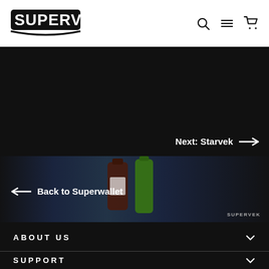SUPERVEK
[Figure (screenshot): Dark promotional banner with 'Next: Starvek' navigation arrow on the right side]
[Figure (photo): Product bottles/packages displayed in center of dark background with Supervek watermark]
← Back to Superwallet
SUPERVEK watermark
ABOUT US
SUPPORT